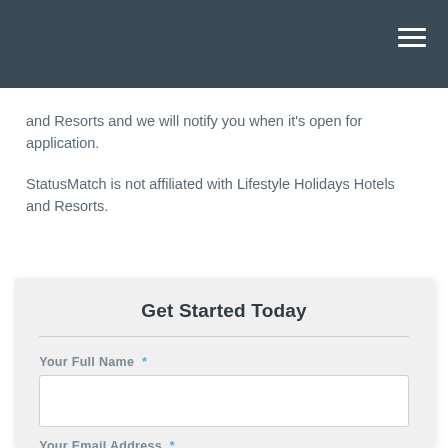and Resorts and we will notify you when it's open for application.
StatusMatch is not affiliated with Lifestyle Holidays Hotels and Resorts.
Get Started Today
Your Full Name *
Your Email Address *